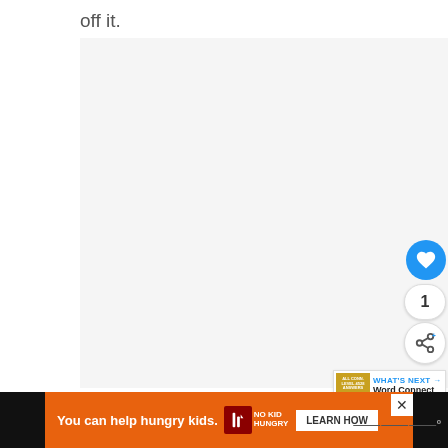off it.
[Figure (other): Large blank whitish content area with a left sidebar stripe, part of a web page layout]
[Figure (other): Blue circular heart/like button showing a white heart icon]
1
[Figure (other): White circular share button with share icon]
[Figure (other): WHAT'S NEXT banner showing Word Connect Level 4528...]
[Figure (other): Orange advertisement banner: You can help hungry kids. No Kid Hungry. LEARN HOW. With close X button.]